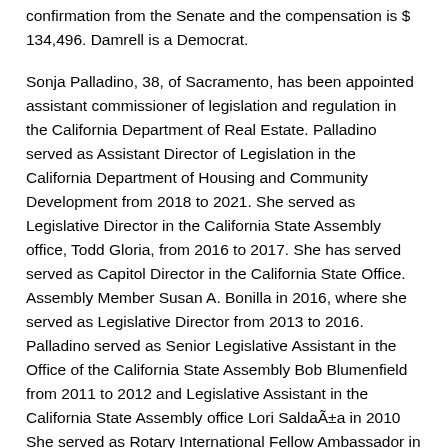confirmation from the Senate and the compensation is $ 134,496. Damrell is a Democrat.
Sonja Palladino, 38, of Sacramento, has been appointed assistant commissioner of legislation and regulation in the California Department of Real Estate. Palladino served as Assistant Director of Legislation in the California Department of Housing and Community Development from 2018 to 2021. She served as Legislative Director in the California State Assembly office, Todd Gloria, from 2016 to 2017. She has served served as Capitol Director in the California State Office. Assembly Member Susan A. Bonilla in 2016, where she served as Legislative Director from 2013 to 2016. Palladino served as Senior Legislative Assistant in the Office of the California State Assembly Bob Blumenfield from 2011 to 2012 and Legislative Assistant in the California State Assembly office Lori Saldaña in 2010 She served as Rotary International Fellow Ambassador in Buenos Aires, Argentina in 2008, legislative assistant in the office of California State Assembly Member Dave Jones from 2006 to 2008 and Deputy Director of Grassroots Campaigns in 2004. Palladino is a